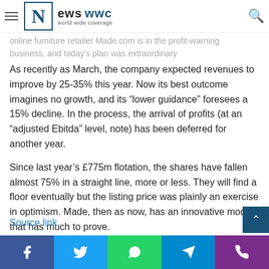News WWC - world wide coverage
online furniture retailer Made.com is in the profit-warning business, and today's plan was extraordinary
As recently as March, the company expected revenues to improve by 25-35% this year. Now its best outcome imagines no growth, and its “lower guidance” foresees a 15% decline. In the process, the arrival of profits (at an “adjusted Ebitda” level, note) has been deferred for another year.
Since last year’s £775m flotation, the shares have fallen almost 75% in a straight line, more or less. They will find a floor eventually but the listing price was plainly an exercise in optimism. Made, then as now, has an innovative model that has much to prove.
Source link